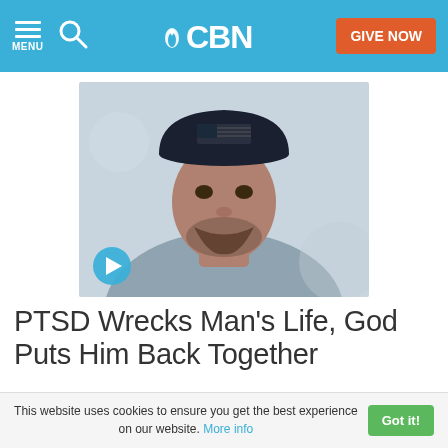CBN — MENU, Search, GIVE NOW
[Figure (photo): Close-up photo of a man wearing a dark baseball cap with a flag design and a grey shirt, looking downward. A blue play button is visible in the lower left corner of the image.]
PTSD Wrecks Man's Life, God Puts Him Back Together
After several combat tours with the military,
This website uses cookies to ensure you get the best experience on our website. More info